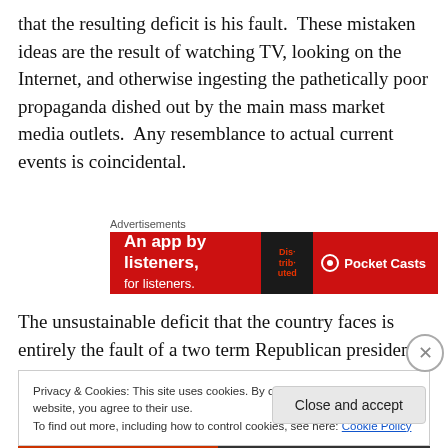that the resulting deficit is his fault.  These mistaken ideas are the result of watching TV, looking on the Internet, and otherwise ingesting the pathetically poor propaganda dished out by the main mass market media outlets.  Any resemblance to actual current events is coincidental.
Advertisements
[Figure (other): Pocket Casts advertisement banner: red background with text 'An app by listeners,' and 'Pocket Casts' logo with headphone icon, and a dark book graphic with 'Distrib-uted' text]
The unsustainable deficit that the country faces is entirely the fault of a two term Republican president, and the crisis
Privacy & Cookies: This site uses cookies. By continuing to use this website, you agree to their use.
To find out more, including how to control cookies, see here: Cookie Policy
Close and accept